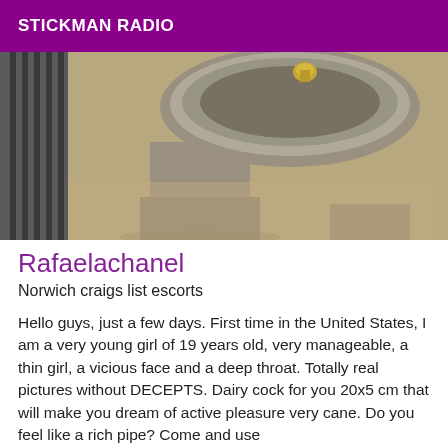STICKMAN RADIO
[Figure (photo): Close-up photograph of a stone water fountain pedestal and basin outdoors on sandy ground, viewed from above at an angle. A metal spigot is visible at the top of the basin. Horizontal ridged concrete or stone structure visible on the left side.]
Rafaelachanel
Norwich craigs list escorts
Hello guys, just a few days. First time in the United States, I am a very young girl of 19 years old, very manageable, a thin girl, a vicious face and a deep throat. Totally real pictures without DECEPTS. Dairy cock for you 20x5 cm that will make you dream of active pleasure very cane. Do you feel like a rich pipe? Come and use